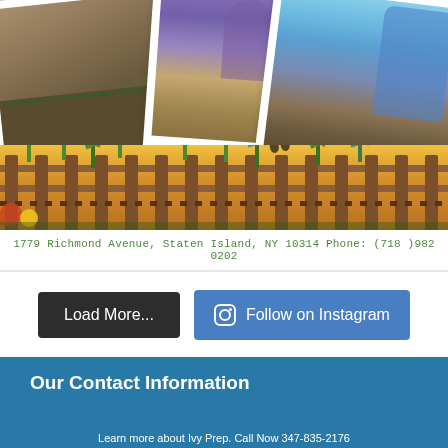[Figure (photo): Polaroid-style photos collage with garden/outdoor scenes and a decorative garden fence banner with colorful flowers and plants]
1779 Richmond Avenue, Staten Island, NY 10314 Phone: (718 )982 0202
Load More...
Follow on Instagram
Our Contact Information
info@ivyprep.org
347-835-2176
[Figure (logo): Instagram icon (rounded square outline with circle and dot)]
Learn more about Ivy Prep. Call Now 347-835-2176